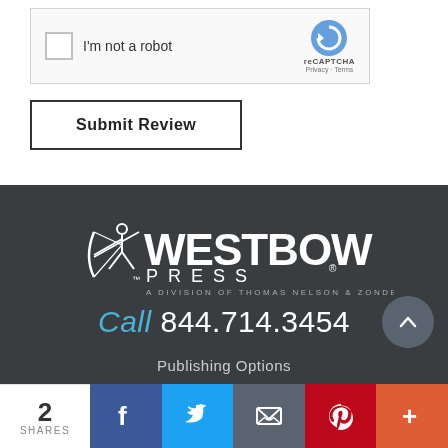[Figure (screenshot): reCAPTCHA widget with checkbox labeled 'I'm not a robot' and reCAPTCHA logo with Privacy and Terms links]
Submit Review
[Figure (logo): WestBow Press logo - A Division of Thomas Nelson & Zondervan]
Call 844.714.3454
Publishing Options
2 SHARES
[Figure (infographic): Social share bar with Facebook, Twitter, Email, Pinterest, and More buttons]